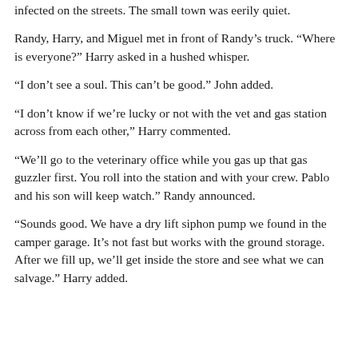infected on the streets. The small town was eerily quiet.
Randy, Harry, and Miguel met in front of Randy’s truck. “Where is everyone?” Harry asked in a hushed whisper.
“I don’t see a soul. This can’t be good.” John added.
“I don’t know if we’re lucky or not with the vet and gas station across from each other,” Harry commented.
“We’ll go to the veterinary office while you gas up that gas guzzler first. You roll into the station and with your crew. Pablo and his son will keep watch.” Randy announced.
“Sounds good. We have a dry lift siphon pump we found in the camper garage. It’s not fast but works with the ground storage. After we fill up, we’ll get inside the store and see what we can salvage.” Harry added.